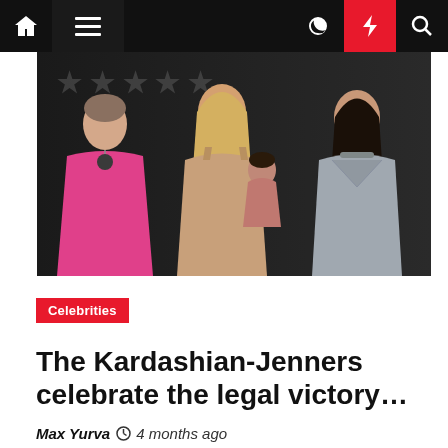Navigation bar with home, menu, moon, lightning, and search icons
[Figure (photo): Group photo of Kardashian-Jenner family members at a red carpet or event, including an older woman in pink, a tall blonde woman in a beige dress holding a child, and Kim Kardashian in a silver metallic dress, against a dark background with star decorations.]
Celebrities
The Kardashian-Jenners celebrate the legal victory…
Max Yurva  🕐 4 months ago